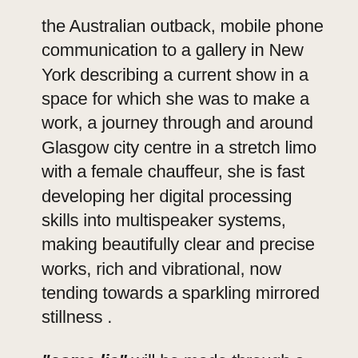the Australian outback, mobile phone communication to a gallery in New York describing a current show in a space for which she was to make a work, a journey through and around Glasgow city centre in a stretch limo with a female chauffeur, she is fast developing her digital processing skills into multispeaker systems, making beautifully clear and precise works, rich and vibrational, now tending towards a sparkling mirrored stillness .
"come lie" will be made through a collaboration with the Biophysics department at Gt.Ormond Street hospital London, where Matthews will have access to research going on with a brain scanner. by putting herself through a series of "pleasure" experiments